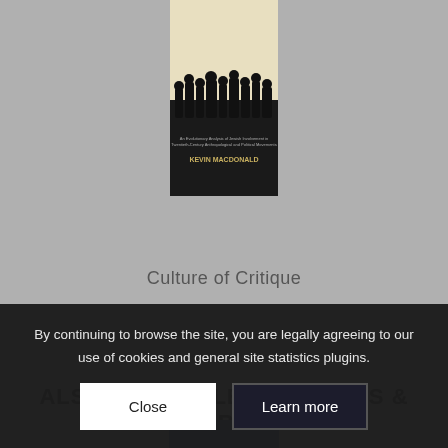[Figure (photo): Book cover of 'Culture of Critique' by Kevin MacDonald — silhouettes of people against a beige/cream background, with dark bottom half]
Culture of Critique
ALSO AVAILABLE AT BARNES & NOBLE
[Figure (photo): Book cover of 'Separation and Its Discontents' — blue textured background with dark overlay and gold text]
By continuing to browse the site, you are legally agreeing to our use of cookies and general site statistics plugins.
Close
Learn more